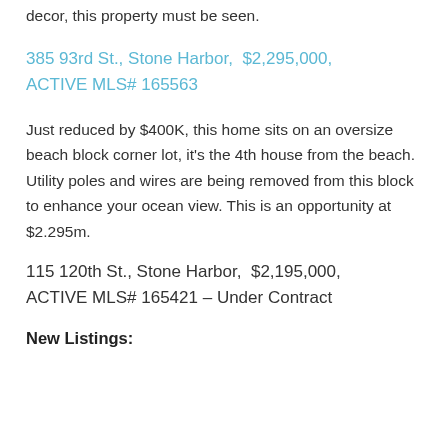decor, this property must be seen.
385 93rd St., Stone Harbor,  $2,295,000, ACTIVE MLS# 165563
Just reduced by $400K, this home sits on an oversize beach block corner lot, it's the 4th house from the beach. Utility poles and wires are being removed from this block to enhance your ocean view. This is an opportunity at $2.295m.
115 120th St., Stone Harbor,  $2,195,000, ACTIVE MLS# 165421 – Under Contract
New Listings: